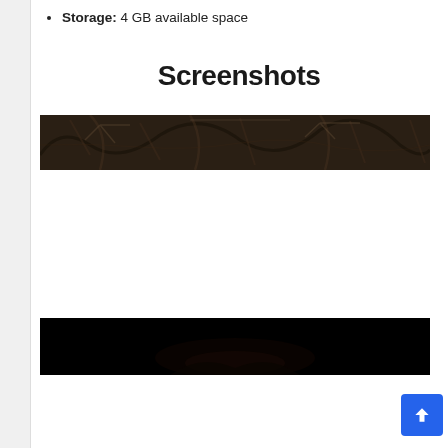Storage: 4 GB available space
Screenshots
[Figure (screenshot): Dark screenshot showing shadowy scene with branch-like elements, very dark brown tones]
[Figure (screenshot): Nearly black screenshot with very dark scene, slight warm tones in the center]